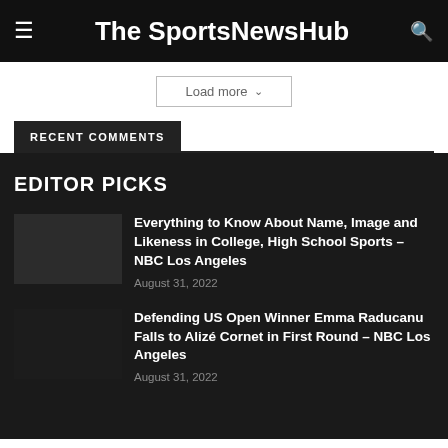The SportsNewsHub
Load more
RECENT COMMENTS
EDITOR PICKS
Everything to Know About Name, Image and Likeness in College, High School Sports – NBC Los Angeles
August 31, 2022
Defending US Open Winner Emma Raducanu Falls to Alizé Cornet in First Round – NBC Los Angeles
August 31, 2022